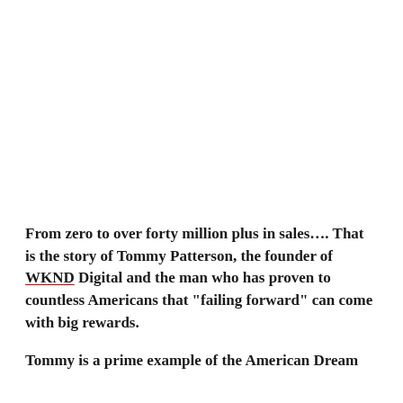From zero to over forty million plus in sales.... That is the story of Tommy Patterson, the founder of WKND Digital and the man who has proven to countless Americans that “failing forward” can come with big rewards.
Tommy is a prime example of the American Dream